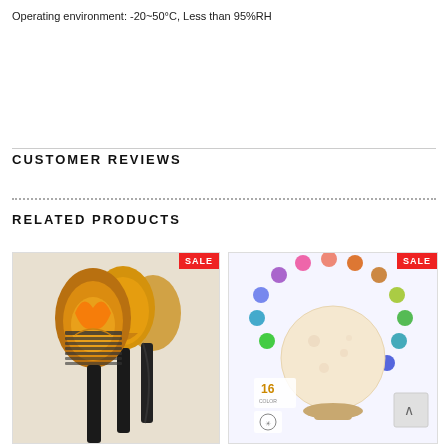Operating environment: -20~50°C, Less than 95%RH
CUSTOMER REVIEWS
RELATED PRODUCTS
[Figure (photo): Solar torch light product with flame effect, SALE badge, shown in a product card]
[Figure (photo): Moon lamp with 16 color options and touch control, SALE badge, shown in a product card]